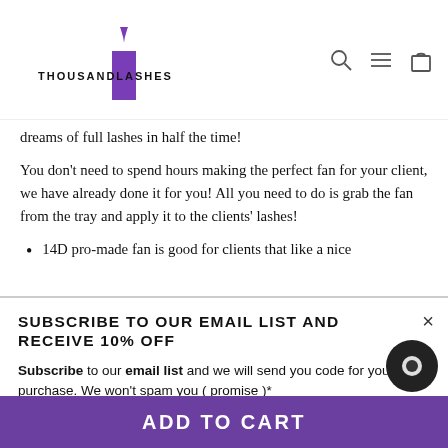[Figure (logo): ThousandLashes logo with large purple T letter mark above and below text THOUSANDLASHES]
[Figure (other): Navigation icons: search magnifying glass, hamburger menu, shopping bag]
dreams of full lashes in half the time!
You don’t need to spend hours making the perfect fan for your client, we have already done it for you! All you need to do is grab the fan from the tray and apply it to the clients’ lashes!
14D pro-made fan is good for clients that like a nice
SUBSCRIBE TO OUR EMAIL LIST AND RECEIVE 10% OFF
Subscribe to our email list and we will send you code for your first purchase. We won't spam you ( promise )*
Enter your email
ADD TO CART